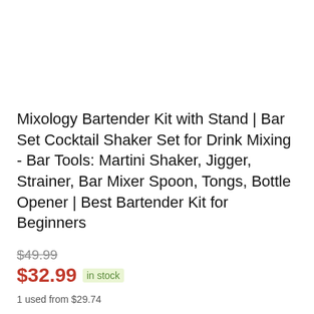Mixology Bartender Kit with Stand | Bar Set Cocktail Shaker Set for Drink Mixing - Bar Tools: Martini Shaker, Jigger, Strainer, Bar Mixer Spoon, Tongs, Bottle Opener | Best Bartender Kit for Beginners
$49.99 (strikethrough) $32.99 in stock
1 used from $29.74